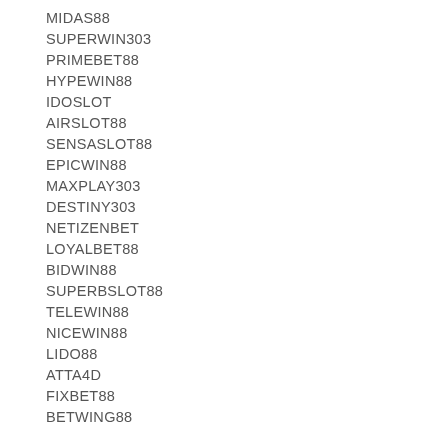MIDAS88
SUPERWIN303
PRIMEBET88
HYPEWIN88
IDOSLOT
AIRSLOT88
SENSASLOT88
EPICWIN88
MAXPLAY303
DESTINY303
NETIZENBET
LOYALBET88
BIDWIN88
SUPERBSLOT88
TELEWIN88
NICEWIN88
LIDO88
ATTA4D
FIXBET88
BETWING88